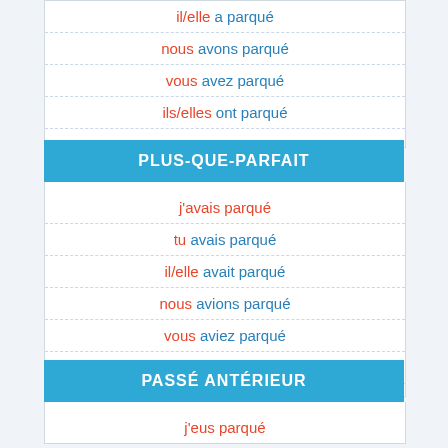| il/elle a parqué |
| nous avons parqué |
| vous avez parqué |
| ils/elles ont parqué |
PLUS-QUE-PARFAIT
| j'avais parqué |
| tu avais parqué |
| il/elle avait parqué |
| nous avions parqué |
| vous aviez parqué |
| ils/elles avaient parqué |
PASSÉ ANTÉRIEUR
| j'eus parqué |